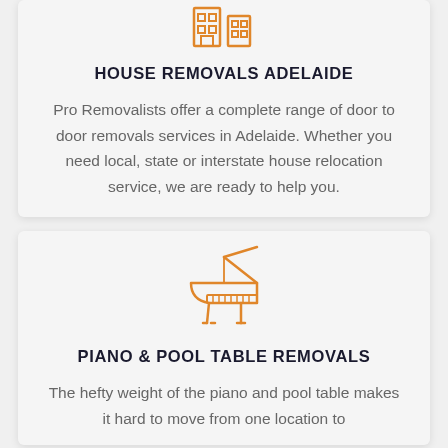[Figure (illustration): Orange line icon of a house building at top of first card, partially visible]
HOUSE REMOVALS ADELAIDE
Pro Removalists offer a complete range of door to door removals services in Adelaide. Whether you need local, state or interstate house relocation service, we are ready to help you.
[Figure (illustration): Orange line icon of a grand piano]
PIANO & POOL TABLE REMOVALS
The hefty weight of the piano and pool table makes it hard to move from one location to